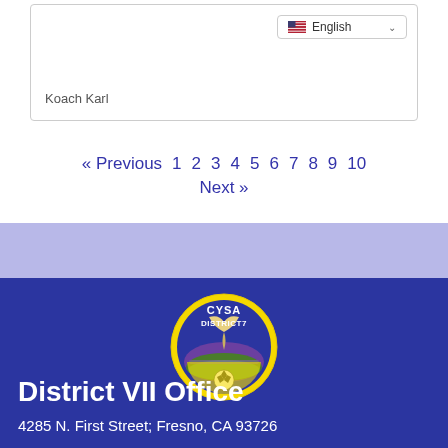Koach Karl
« Previous  1  2  3  4  5  6  7  8  9  10
Next »
[Figure (logo): CYSA District 7 soccer organization logo — circular badge with yellow border, blue background, 'CYSA' text at top, 'DISTRICT7' below, eagle and soccer ball imagery, colorful field/mountain landscape]
District VII Office
4285 N. First Street; Fresno, CA 93726